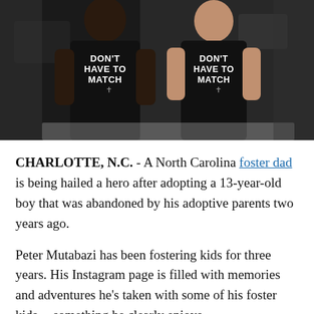[Figure (photo): Two people wearing black t-shirts that read 'DON'T HAVE TO MATCH' with a cross symbol, posing together indoors.]
CHARLOTTE, N.C. - A North Carolina foster dad is being hailed a hero after adopting a 13-year-old boy that was abandoned by his adoptive parents two years ago.
Peter Mutabazi has been fostering kids for three years. His Instagram page is filled with memories and adventures he's taken with some of his foster kids -- something he clearly enjoys.
One of those kids was a boy named Tony.
Tony had originally been adopted by a couple in